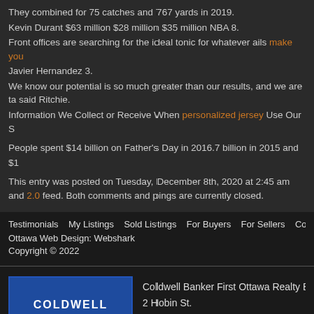They combined for 75 catches and 767 yards in 2019.
Kevin Durant $63 million $28 million $35 million NBA 8.
Front offices are searching for the ideal tonic for whatever ails make you
Javier Hernandez 3.
We know our potential is so much greater than our results, and we are ta said Ritchie.
Information We Collect or Receive When personalized jersey Use Our S
People spent $14 billion on Father's Day in 2016.7 billion in 2015 and $1
This entry was posted on Tuesday, December 8th, 2020 at 2:45 am and 2.0 feed. Both comments and pings are currently closed.
Testimonials   My Listings   Sold Listings   For Buyers   For Sellers   Community Info   Contact D
Ottawa Web Design: Webshark
Copyright © 2022
[Figure (logo): Coldwell Banker logo - blue rectangle with COLDWELL BANKER text and shield icon]
First Ottawa Realty
Brokerage
Coldwell Banker First Ottawa Realty Broker
2 Hobin St.
Stittsville, Ontario
613-831-9628